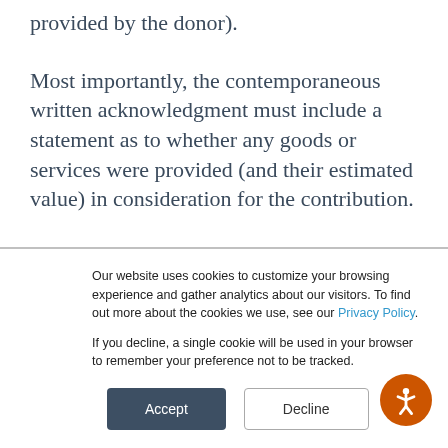provided by the donor).
Most importantly, the contemporaneous written acknowledgment must include a statement as to whether any goods or services were provided (and their estimated value) in consideration for the contribution.
A written acknowledgment is contemporaneous only
Our website uses cookies to customize your browsing experience and gather analytics about our visitors. To find out more about the cookies we use, see our Privacy Policy.
If you decline, a single cookie will be used in your browser to remember your preference not to be tracked.